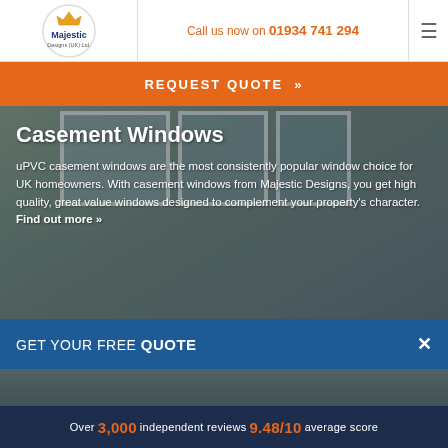[Figure (logo): Majestic Designs (UK) Ltd. logo — circular logo with crown icon and company name]
Call us now on 01934 741 294
REQUEST QUOTE »
[Figure (photo): Background photo of uPVC casement windows installed on a house exterior]
Casement Windows
uPVC casement windows are the most consistently popular window choice for UK homeowners. With casement windows from Majestic Designs, you get high quality, great value windows designed to complement your property's character.  Find out more »
GET YOUR FREE QUOTE ×
Over 3,000 independent reviews 9.48/10 average score